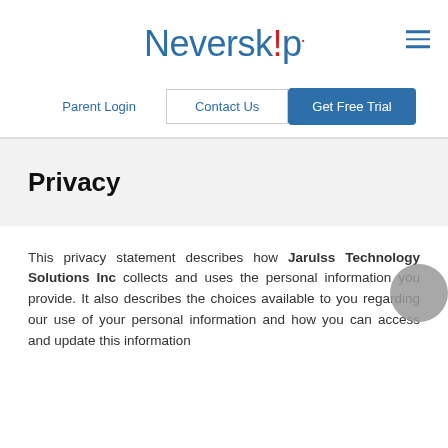Neverskip
Parent Login   Contact Us   Get Free Trial
Privacy
This privacy statement describes how Jarulss Technology Solutions Inc collects and uses the personal information you provide. It also describes the choices available to you regarding our use of your personal information and how you can access and update this information